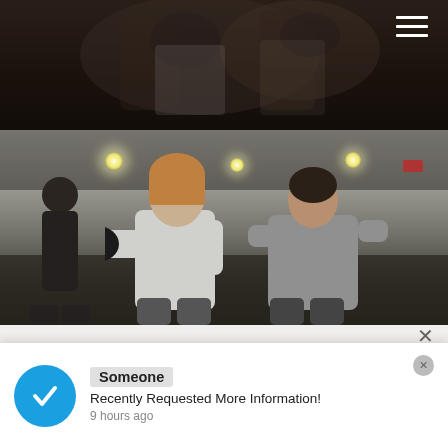[Figure (photo): Dark overhead/top image of fighters or gym activity with dark overlay; hamburger menu icon in top right corner]
[Figure (photo): Indoor gym/boxing training camp photo showing two sparring fighters in a gym environment with ceiling lights visible]
NASHVILLE TRAINING CAMP HAS MOVED    1504 ELM HILL PIKE NASHVILLE, TN 37210
JOIN US AT OUR NEW LOCATION!!
Someone
Recently Requested More Information!
9 hours ago